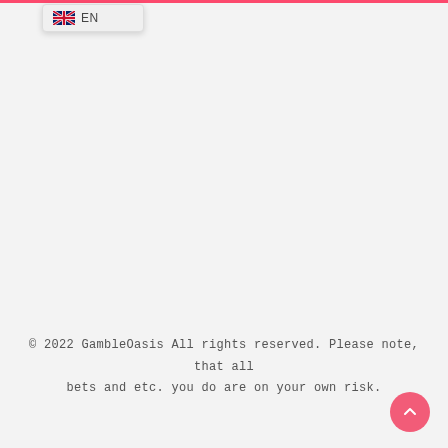[Figure (screenshot): UK flag icon with 'EN' language selector dropdown in top-left area]
© 2022 GambleOasis All rights reserved. Please note, that all bets and etc. you do are on your own risk.